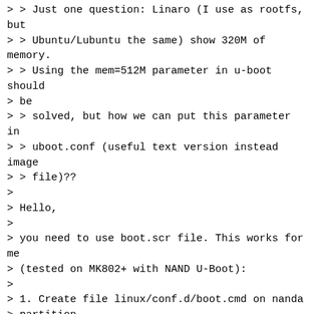> > Just one question: Linaro (I use as rootfs, but
> > Ubuntu/Lubuntu the same) show 320M of memory.
> > Using the mem=512M parameter in u-boot should
> be
> > solved, but how we can put this parameter in
> > uboot.conf (useful text version instead image
> > file)??
>
> Hello,
>
> you need to use boot.scr file. This works for me
> (tested on MK802+ with NAND U-Boot):
>
> 1. Create file linux/conf.d/boot.cmd on nanda
> partition
> 2. Content of boot.cmd:
>
> setenv bootargs console=ttyS0,115200
> root=/dev/mmcblk0p2 mem=512M loglevel=8 rootwait
> fatload nand 0 0x43000000 script.bin
> fatload nand 0 0x44000000 linux/uImage
> fatload nand 0 0x45000000 linux/uInitrd
> bootm 0x44000000 0x45000000
>
> Note: Modify bootargs as per your needs (e.g. set
> your root device, include modules in